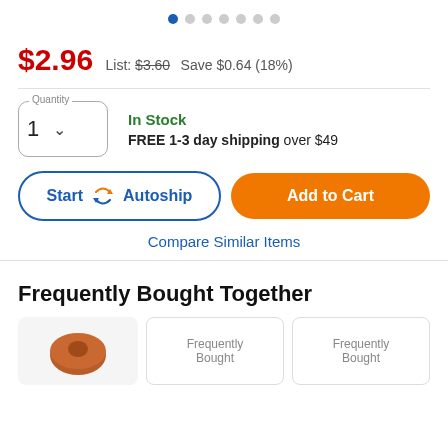[Figure (other): Carousel navigation dots, first dot active (blue), six remaining dots gray]
$2.96 List: $3.60 Save $0.64 (18%)
In Stock
FREE 1-3 day shipping over $49
Start Autoship
Add to Cart
Compare Similar Items
Frequently Bought Together
[Figure (photo): Product image thumbnail (brown round object)]
[Figure (photo): Frequently Bought product image placeholder]
[Figure (photo): Frequently Bought product image placeholder]